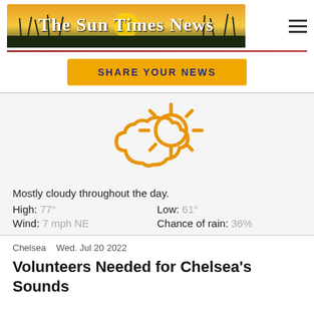The Sun Times News
SHARE YOUR NEWS
[Figure (illustration): Partly cloudy weather icon: a cloud outline and a sun with rays, both drawn in orange stroke style.]
Mostly cloudy throughout the day.
High: 77°   Low: 61°
Wind: 7 mph NE   Chance of rain: 36%
Chelsea   Wed. Jul 20 2022
Volunteers Needed for Chelsea's Sounds